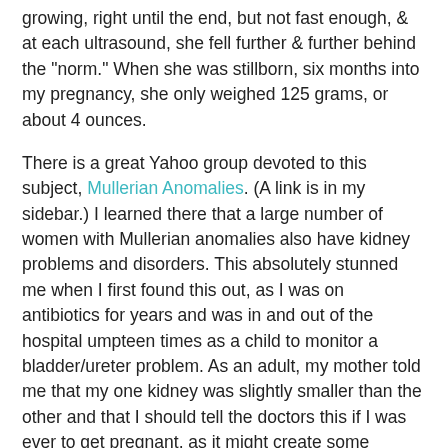growing, right until the end, but not fast enough, & at each ultrasound, she fell further & further behind the "norm." When she was stillborn, six months into my pregnancy, she only weighed 125 grams, or about 4 ounces.
There is a great Yahoo group devoted to this subject, Mullerian Anomalies. (A link is in my sidebar.) I learned there that a large number of women with Mullerian anomalies also have kidney problems and disorders. This absolutely stunned me when I first found this out, as I was on antibiotics for years and was in and out of the hospital umpteen times as a child to monitor a bladder/ureter problem. As an adult, my mother told me that my one kidney was slightly smaller than the other and that I should tell the doctors this if I was ever to get pregnant, as it might create some difficulties. (Naïve little me, I assumed difficulties for ME, as in having to go to the bathroom more often. Little did I know…!!)
I keep wondering -- did the doctors know about this co-relation back then? (Perhaps not. So little seems to be known about it, even now.) But even if they didn't, I certainly had enough X-rays and ultrasounds and other such tests in